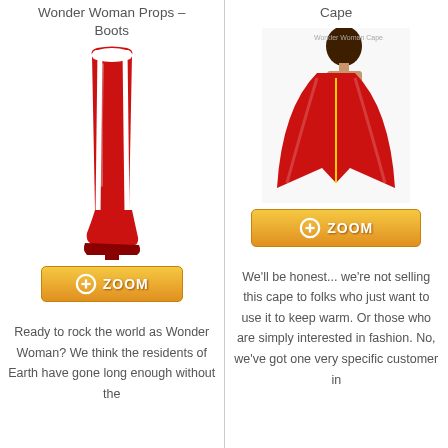Wonder Woman Props – Boots
[Figure (photo): Red and white knee-high Wonder Woman boots with heel]
[Figure (other): Orange zoom button with plus icon]
Ready to rock the world as Wonder Woman? We think the residents of Earth have gone long enough without the
Cape
[Figure (photo): Woman wearing red Wonder Woman cape from behind]
[Figure (other): Orange zoom button with plus icon]
We'll be honest... we're not selling this cape to folks who just want to use it to keep warm. Or those who are simply interested in fashion. No, we've got one very specific customer in